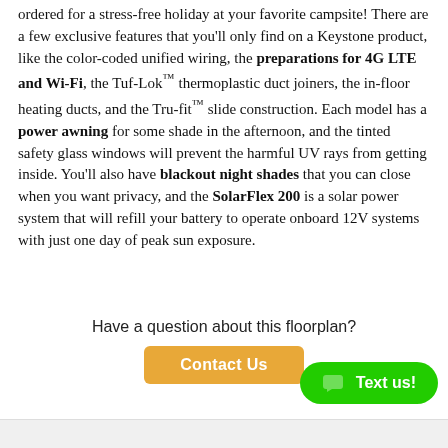ordered for a stress-free holiday at your favorite campsite! There are a few exclusive features that you'll only find on a Keystone product, like the color-coded unified wiring, the preparations for 4G LTE and Wi-Fi, the Tuf-Lok™ thermoplastic duct joiners, the in-floor heating ducts, and the Tru-fit™ slide construction. Each model has a power awning for some shade in the afternoon, and the tinted safety glass windows will prevent the harmful UV rays from getting inside. You'll also have blackout night shades that you can close when you want privacy, and the SolarFlex 200 is a solar power system that will refill your battery to operate onboard 12V systems with just one day of peak sun exposure.
Have a question about this floorplan?
Contact Us
Text us!